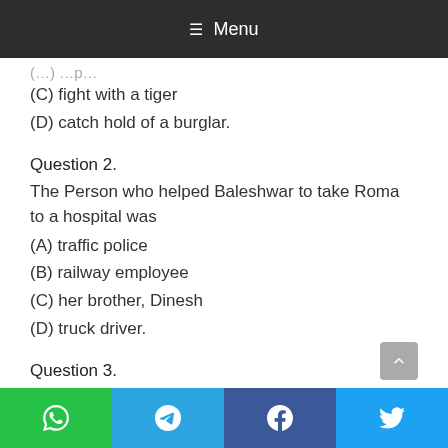≡ Menu
(C) fight with a tiger
(D) catch hold of a burglar.
Question 2.
The Person who helped Baleshwar to take Roma to a hospital was
(A) traffic police
(B) railway employee
(C) her brother, Dinesh
(D) truck driver.
Question 3.
Scientists were called to Geneva to find out